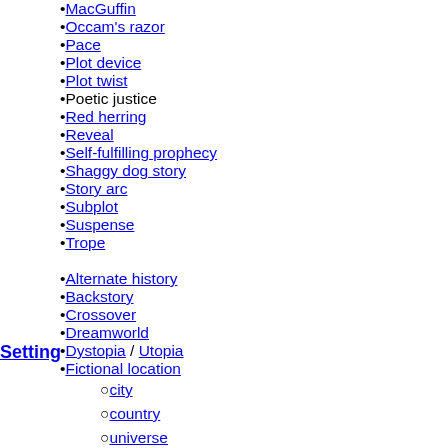MacGuffin
Occam's razor
Pace
Plot device
Plot twist
Poetic justice
Red herring
Reveal
Self-fulfilling prophecy
Shaggy dog story
Story arc
Subplot
Suspense
Trope
Alternate history
Backstory
Crossover
Dreamworld
Dystopia / Utopia
Fictional location
city
country
universe
Worldbuilding
Setting